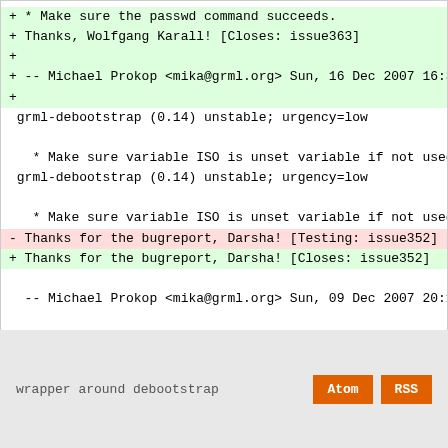+ * Make sure the passwd command succeeds.
+     Thanks, Wolfgang Karall! [Closes: issue363]
+
+ -- Michael Prokop <mika@grml.org>  Sun, 16 Dec 2007 16:30
+
 grml-debootstrap (0.14) unstable; urgency=low

   * Make sure variable ISO is unset variable if not used.
 grml-debootstrap (0.14) unstable; urgency=low

   * Make sure variable ISO is unset variable if not used.
-     Thanks for the bugreport, Darsha! [Testing: issue352]
+     Thanks for the bugreport, Darsha! [Closes: issue352]

  -- Michael Prokop <mika@grml.org>  Sun, 09 Dec 2007 20:16


  -- Michael Prokop <mika@grml.org>  Sun, 09 Dec 2007 20:16
wrapper around debootstrap
Atom  RSS